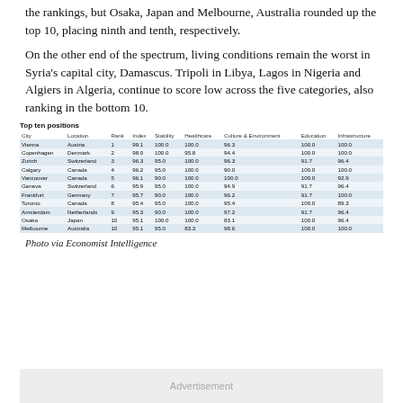the rankings, but Osaka, Japan and Melbourne, Australia rounded up the top 10, placing ninth and tenth, respectively.
On the other end of the spectrum, living conditions remain the worst in Syria's capital city, Damascus. Tripoli in Libya, Lagos in Nigeria and Algiers in Algeria, continue to score low across the five categories, also ranking in the bottom 10.
| City | Location | Rank | Index | Stability | Healthcare | Culture & Environment | Education | Infrastructure |
| --- | --- | --- | --- | --- | --- | --- | --- | --- |
| Vienna | Austria | 1 | 99.1 | 100.0 | 100.0 | 96.3 | 100.0 | 100.0 |
| Copenhagen | Denmark | 2 | 98.0 | 100.0 | 95.8 | 94.4 | 100.0 | 100.0 |
| Zurich | Switzerland | 3 | 96.3 | 95.0 | 100.0 | 96.3 | 91.7 | 96.4 |
| Calgary | Canada | 4 | 96.2 | 95.0 | 100.0 | 90.0 | 100.0 | 100.0 |
| Vancouver | Canada | 5 | 96.1 | 90.0 | 100.0 | 100.0 | 100.0 | 92.9 |
| Geneva | Switzerland | 6 | 95.9 | 95.0 | 100.0 | 94.9 | 91.7 | 96.4 |
| Frankfurt | Germany | 7 | 95.7 | 90.0 | 100.0 | 96.2 | 91.7 | 100.0 |
| Toronto | Canada | 8 | 95.4 | 95.0 | 100.0 | 95.4 | 100.0 | 89.3 |
| Amsterdam | Netherlands | 9 | 95.3 | 90.0 | 100.0 | 97.2 | 91.7 | 96.4 |
| Osaka | Japan | 10 | 95.1 | 100.0 | 100.0 | 83.1 | 100.0 | 96.4 |
| Melbourne | Australia | 10 | 95.1 | 95.0 | 83.3 | 98.6 | 100.0 | 100.0 |
Photo via Economist Intelligence